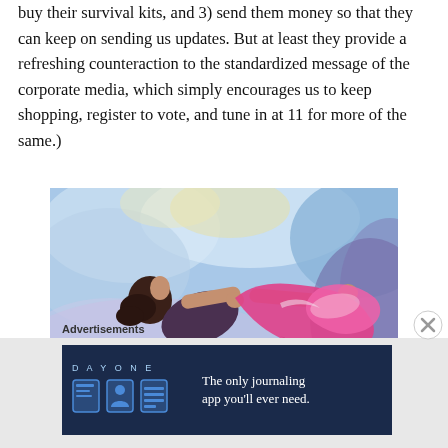buy their survival kits, and 3) send them money so that they can keep on sending us updates. But at least they provide a refreshing counteraction to the standardized message of the corporate media, which simply encourages us to keep shopping, register to vote, and tune in at 11 for more of the same.)
[Figure (illustration): Impressionist oil painting of a woman in a dark top stretching out a pink fabric/scarf with both arms, against a blue and white abstract background.]
Advertisements
[Figure (screenshot): Advertisement for Day One journaling app. Dark blue background with DAY ONE logo, three app icons, and text: The only journaling app you'll ever need.]